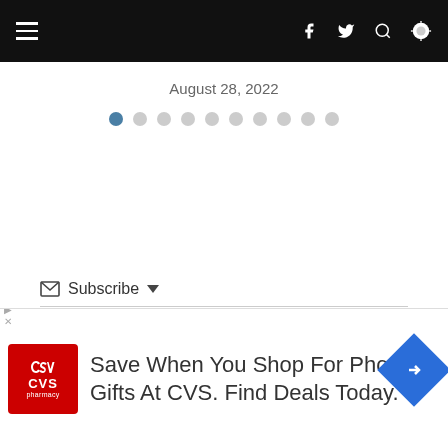Navigation bar with hamburger menu, Facebook, Twitter, Search, and settings icons
August 28, 2022
[Figure (other): Dot pagination navigation with 10 dots, first dot active (filled blue), remaining 9 dots empty (grey outlines)]
Subscribe
Be the First to Comment!
[Figure (infographic): CVS Pharmacy advertisement: Save When You Shop For Photo Gifts At CVS. Find Deals Today.]